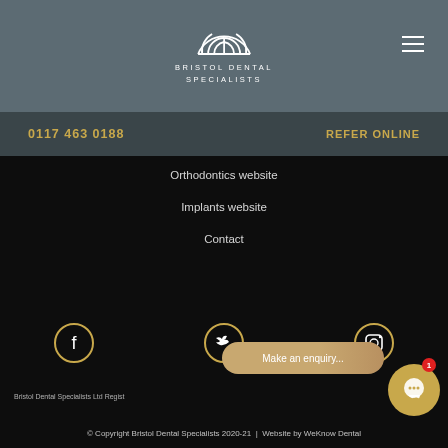[Figure (logo): Bristol Dental Specialists logo with stylized fan/flower icon and text 'BRISTOL DENTAL SPECIALISTS' in white letters on grey header bar]
0117 463 0188
REFER ONLINE
Orthodontics website
Implants website
Contact
[Figure (illustration): Social media icons row: Facebook, Twitter, Instagram — each as white icon inside golden circle border on dark background]
Bristol Dental Specialists Ltd Regist
© Copyright Bristol Dental Specialists 2020-21  |  Website by WeKnow Dental